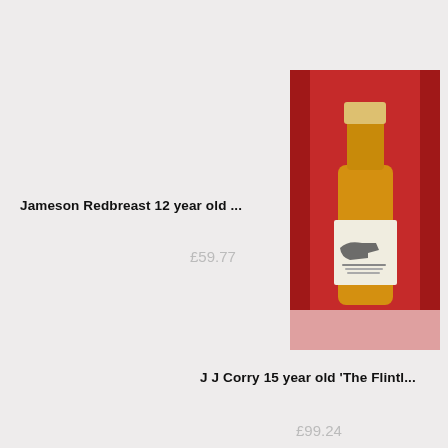Jameson Redbreast 12 year old ...
£59.77
[Figure (photo): Photo of J J Corry 15 year old whiskey bottle with flintlock pistol label, on red draped background]
J J Corry 15 year old 'The Flintl...
£99.24